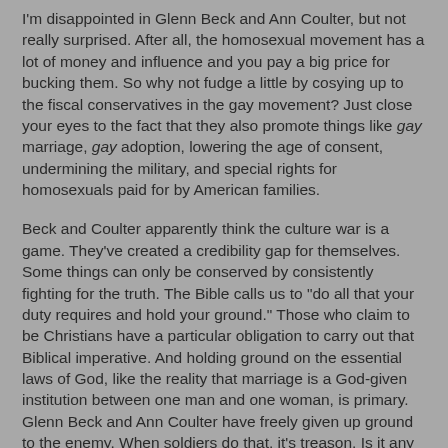I'm disappointed in Glenn Beck and Ann Coulter, but not really surprised. After all, the homosexual movement has a lot of money and influence and you pay a big price for bucking them. So why not fudge a little by cosying up to the fiscal conservatives in the gay movement? Just close your eyes to the fact that they also promote things like gay marriage, gay adoption, lowering the age of consent, undermining the military, and special rights for homosexuals paid for by American families.
Beck and Coulter apparently think the culture war is a game. They've created a credibility gap for themselves. Some things can only be conserved by consistently fighting for the truth. The Bible calls us to "do all that your duty requires and hold your ground." Those who claim to be Christians have a particular obligation to carry out that Biblical imperative. And holding ground on the essential laws of God, like the reality that marriage is a God-given institution between one man and one woman, is primary. Glenn Beck and Ann Coulter have freely given up ground to the enemy. When soldiers do that, it's treason. Is it any loss a treason when the battle is